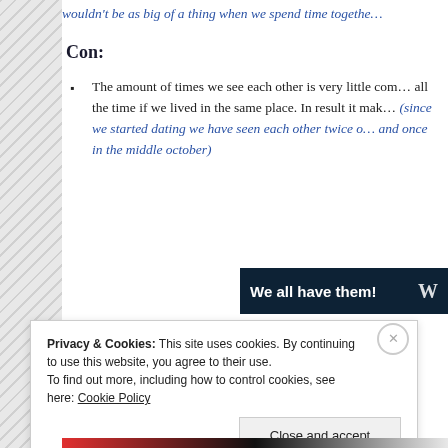wouldn't be as big of a thing when we spend time together
Con:
The amount of times we see each other is very little compared to being together all the time if we lived in the same place. In result it makes (since we started dating we have seen each other twice and once in the middle october)
[Figure (other): Dark navy banner advertisement with text 'We all have them!' and a logo W on the right side]
Privacy & Cookies: This site uses cookies. By continuing to use this website, you agree to their use.
To find out more, including how to control cookies, see here: Cookie Policy
Close and accept